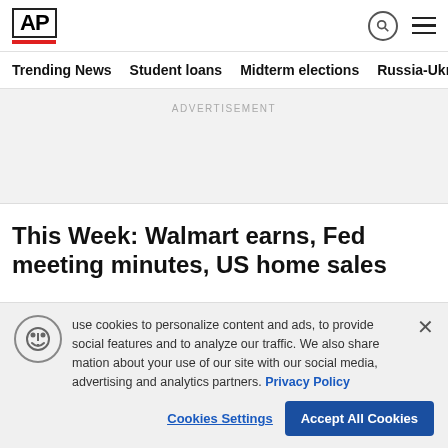AP
Trending News
Student loans
Midterm elections
Russia-Ukr
ADVERTISEMENT
This Week: Walmart earns, Fed meeting minutes, US home sales
use cookies to personalize content and ads, to provide social features and to analyze our traffic. We also share mation about your use of our site with our social media, advertising and analytics partners. Privacy Policy
Cookies Settings
Accept All Cookies